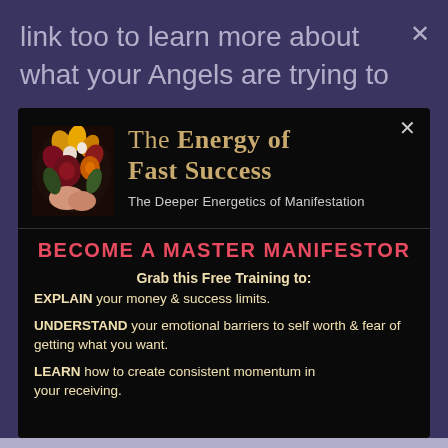link too to learn more about what your Angels are trying to
[Figure (screenshot): Modal popup dialog on dark purple background. Contains a floral illustration (bouquet of colorful flowers with hands), title 'The Energy of Fast Success', subtitle 'The Deeper Energetics of Manifestation', red heading 'BECOME A MASTER MANIFESTOR', and body text about grabbing a free training.]
The Energy of Fast Success
The Deeper Energetics of Manifestation
BECOME A MASTER MANIFESTOR
Grab this Free Training to:
EXPLAIN your money & success limits.

UNDERSTAND your emotional barriers to self worth & fear of getting what you want.

LEARN how to create consistent momentum in your receiving.